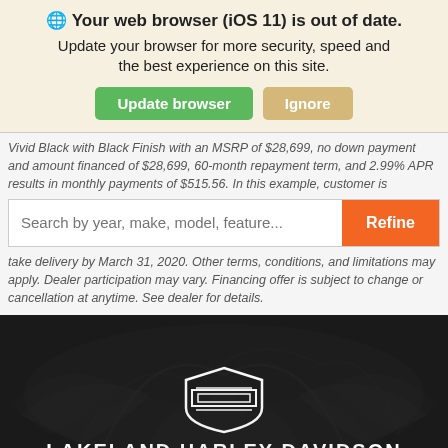🌐 Your web browser (iOS 11) is out of date. Update your browser for more security, speed and the best experience on this site.
[Figure (screenshot): Two buttons: green 'Update browser' and tan 'Ignore']
Vivid Black with Black Finish with an MSRP of $28,699, no down payment and amount financed of $28,699, 60-month repayment term, and 2.99% APR results in monthly payments of $515.56. In this example, customer is
[Figure (screenshot): Search bar with placeholder 'Search by year, make, model, feature...' and orange 'Refine' button]
take delivery by March 31, 2020. Other terms, conditions, and limitations may apply. Dealer participation may vary. Financing offer is subject to change or cancellation at anytime. See dealer for details.
[Figure (logo): Harley-Davidson shield logo outline in white, with text LAKELAND HARLEY-DAVIDSON below on dark background]